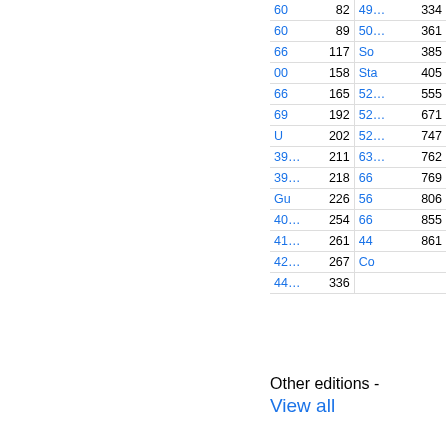| Col1 | Col2 | Col3 | Col4 |
| --- | --- | --- | --- |
| 60 | 82 | 49… | 334 |
| 60 | 89 | 50… | 361 |
| 66 | 117 | So | 385 |
| 00 | 158 | Sta | 405 |
| 66 | 165 | 52… | 555 |
| 69 | 192 | 52… | 671 |
| U | 202 | 52… | 747 |
| 39… | 211 | 63… | 762 |
| 39… | 218 | 66 | 769 |
| Gu | 226 | 56 | 806 |
| 40… | 254 | 66 | 855 |
| 41… | 261 | 44 | 861 |
| 42… | 267 | Co |  |
| 44… | 336 |  |  |
Other editions - View all